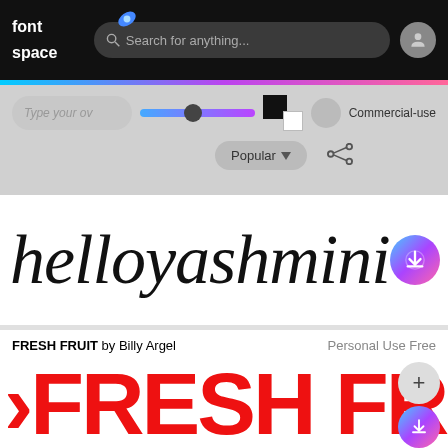font space — Search for anything...
[Figure (screenshot): FontSpace website UI with search bar, slider, color swatches, commercial-use toggle, Popular sort button, and share icon]
helloyashmin (handwriting font preview)
FRESH FRUIT by Billy Argel — Personal Use Free
[Figure (screenshot): FRESH FRUIT font preview showing red bold text '-FRESH FR' partially visible]